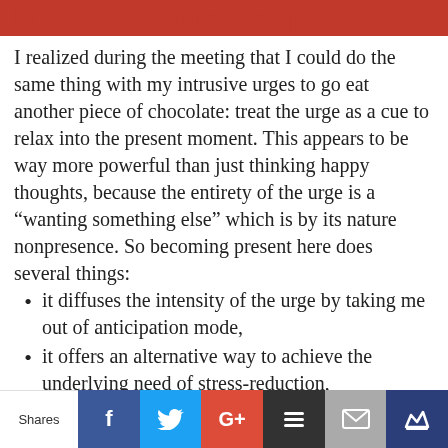My Solution as a resource
I realized during the meeting that I could do the same thing with my intrusive urges to go eat another piece of chocolate: treat the urge as a cue to relax into the present moment. This appears to be way more powerful than just thinking happy thoughts, because the entirety of the urge is a “wanting something else” which is by its nature nonpresence. So becoming present here does several things:
it diffuses the intensity of the urge by taking me out of anticipation mode,
it offers an alternative way to achieve the underlying need of stress-reduction,
& it changes my relationship with the urges from one of shame, frustration, impatience and anger, to a relationship of gratitude and delight
Shares | Facebook | Twitter | Google+ | Buffer | Email | Crown